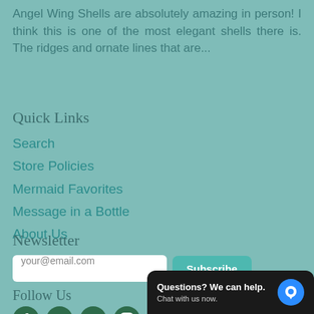Angel Wing Shells are absolutely amazing in person!  I think this is one of the most elegant shells there is.   The ridges and ornate lines that are...
Quick Links
Search
Store Policies
Mermaid Favorites
Message in a Bottle
About Us
Newsletter
your@email.com  Subscribe
Follow Us
[Figure (illustration): Four social media icons: Facebook, Pinterest, Google+, Instagram]
Questions? We can help. Chat with us now.